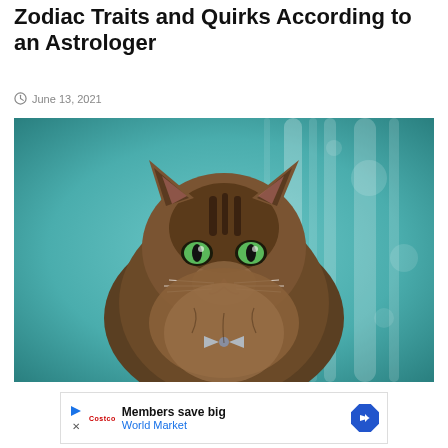Zodiac Traits and Quirks According to an Astrologer
June 13, 2021
[Figure (photo): Fluffy long-haired tabby cat with green eyes, sitting upright against a blurred teal/blue background, wearing a small bow tie decoration]
[Figure (other): Advertisement banner: Members save big - World Market, with play button, red logo, and blue diamond arrow icon]